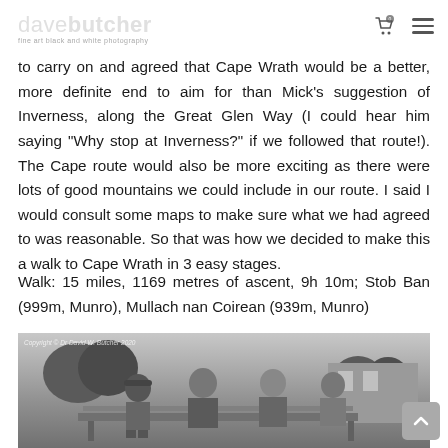davebutcher fine art black and white photography
to carry on and agreed that Cape Wrath would be a better, more definite end to aim for than Mick's suggestion of Inverness, along the Great Glen Way (I could hear him saying "Why stop at Inverness?" if we followed that route!). The Cape route would also be more exciting as there were lots of good mountains we could include in our route. I said I would consult some maps to make sure what we had agreed to was reasonable. So that was how we decided to make this a walk to Cape Wrath in 3 easy stages.
Walk: 15 miles, 1169 metres of ascent, 9h 10m; Stob Ban (999m, Munro), Mullach nan Coirean (939m, Munro)
[Figure (photo): Black and white photograph of three men sitting on a bench outdoors, with trees and buildings visible in the background. Copyright Dr David W. Butcher 2020.]